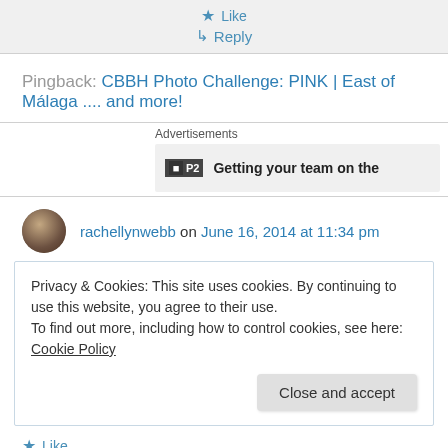★ Like
↳ Reply
Pingback: CBBH Photo Challenge: PINK | East of Málaga .... and more!
Advertisements
[Figure (screenshot): P2 advertisement banner showing text 'Getting your team on the...']
rachellynwebb on June 16, 2014 at 11:34 pm
Privacy & Cookies: This site uses cookies. By continuing to use this website, you agree to their use.
To find out more, including how to control cookies, see here: Cookie Policy
Close and accept
★ Like